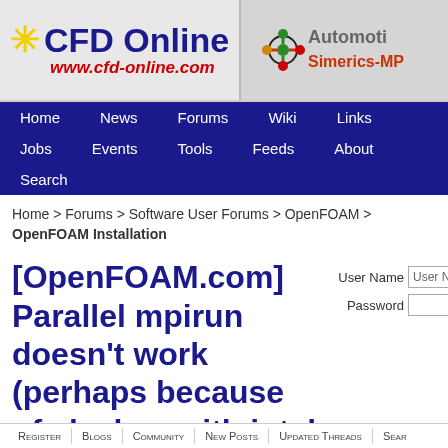[Figure (logo): CFD Online logo with yellow star and www.cfd-online.com URL in red italic, plus Automotive Simerics-MP banner ad on right]
Home | News | Forums | Wiki | Links | Jobs | Events | Tools | Feeds | About | Search
Home > Forums > Software User Forums > OpenFOAM > OpenFOAM Installation
[OpenFOAM.com] Parallel mpirun doesn't work (perhaps because of clashes with intel compiler)
Register | Blogs | Community | New Posts | Updated Threads | Search